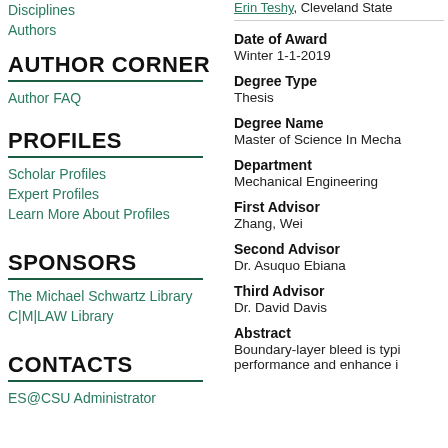Disciplines
Authors
AUTHOR CORNER
Author FAQ
PROFILES
Scholar Profiles
Expert Profiles
Learn More About Profiles
SPONSORS
The Michael Schwartz Library
C|M|LAW Library
CONTACTS
ES@CSU Administrator
Erin Teshy, Cleveland State...
Date of Award
Winter 1-1-2019
Degree Type
Thesis
Degree Name
Master of Science In Mecha...
Department
Mechanical Engineering
First Advisor
Zhang, Wei
Second Advisor
Dr. Asuquo Ebiana
Third Advisor
Dr. David Davis
Abstract
Boundary-layer bleed is typi... performance and enhance i...